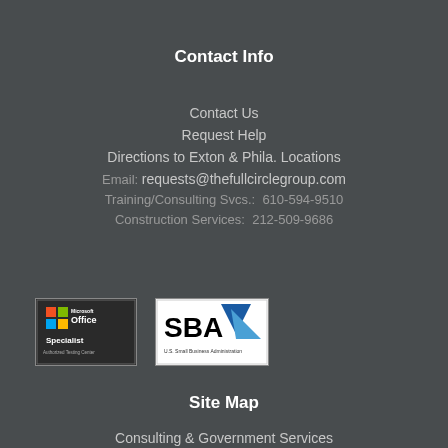Contact Info
Contact Us
Request Help
Directions to Exton & Phila. Locations
Email: requests@thefullcirclegroup.com
Training/Consulting Svcs.:  610-594-9510
Construction Services:  212-509-9686
[Figure (logo): Microsoft Office Specialist Authorized Testing Center logo]
[Figure (logo): U.S. Small Business Administration (SBA) logo]
Site Map
Consulting & Government Services